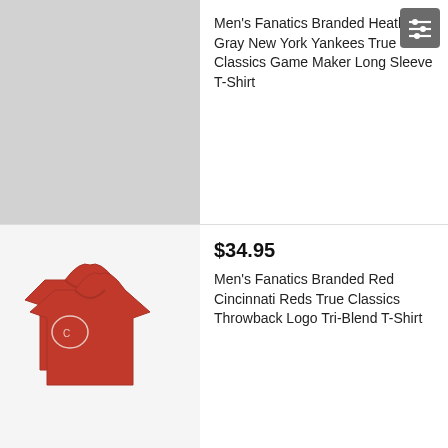[Figure (photo): Men's Fanatics Branded Heathered Gray New York Yankees True Classics Game Maker Long Sleeve T-Shirt product image (gray background, shirt partially visible)]
Men's Fanatics Branded Heathered Gray New York Yankees True Classics Game Maker Long Sleeve T-Shirt
[Figure (photo): Men's Fanatics Branded Red Cincinnati Reds True Classics Throwback Logo Tri-Blend T-Shirt product image showing front and back of red shirt]
$34.95
Men's Fanatics Branded Red Cincinnati Reds True Classics Throwback Logo Tri-Blend T-Shirt